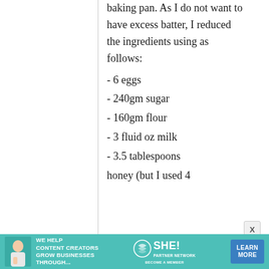baking pan. As I do not want to have excess batter, I reduced the ingredients using as follows:
- 6 eggs
- 240gm sugar
- 160gm flour
- 3 fluid oz milk
- 3.5 tablespoons
honey (but I used 4